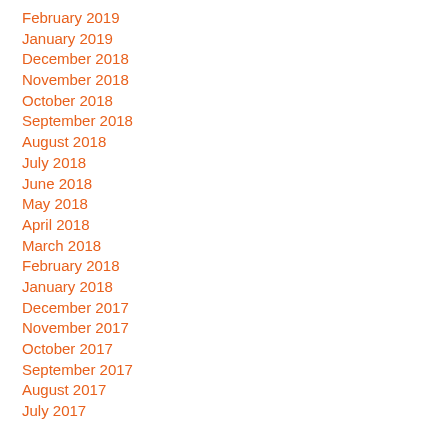February 2019
January 2019
December 2018
November 2018
October 2018
September 2018
August 2018
July 2018
June 2018
May 2018
April 2018
March 2018
February 2018
January 2018
December 2017
November 2017
October 2017
September 2017
August 2017
July 2017